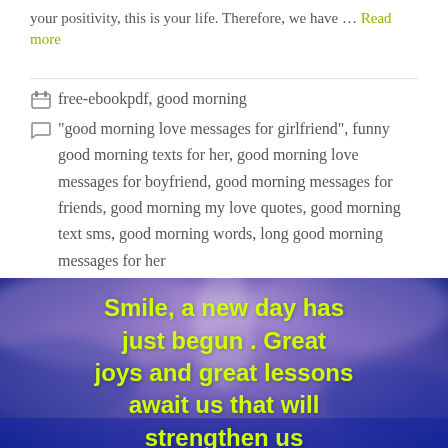your positivity, this is your life. Therefore, we have … Read more
free-ebookpdf, good morning
"good morning love messages for girlfriend", funny good morning texts for her, good morning love messages for boyfriend, good morning messages for friends, good morning my love quotes, good morning text sms, good morning words, long good morning messages for her
[Figure (photo): Sky background image with yellow-green text: 'Smile, a new day has just begun . Great joys and great lessons await us that will strengthen us']